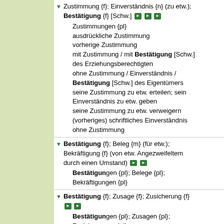Zustimmung {f}; Einverständnis {n} (zu etw.); Bestätigung {f} [Schw.] [audio icons] Zustimmungen {pl} ausdrückliche Zustimmung vorherige Zustimmung mit Zustimmung / mit Bestätigung [Schw.] des Erziehungsberechtigten ohne Zustimmung / Einverständnis / Bestätigung [Schw.] des Eigentümers seine Zustimmung zu etw. erteilen; sein Einverständnis zu etw. geben seine Zustimmung zu etw. verweigern (vorheriges) schriftliches Einverständnis ohne Zustimmung
Bestätigung {f}; Beleg {m} (für etw.); Bekräftigung {f} (von etw. Angezweifeltem durch einen Umstand) [audio icons] Bestätigungen {pl}; Belege {pl}; Bekräftigungen {pl}
Bestätigung {f}; Zusage {f}; Zusicherung {f} [audio icons] Bestätigungen {pl}; Zusagen {pl}; Zusicherungen {pl} Bestätigung des Zahlungseingangs Bitte um Bestätigung.
Bestätigung {f}; Quittung {f}; Quittierung {f} (von etw.); Rückmeldung {f} (auf etw.) [adm.] [audio icons]